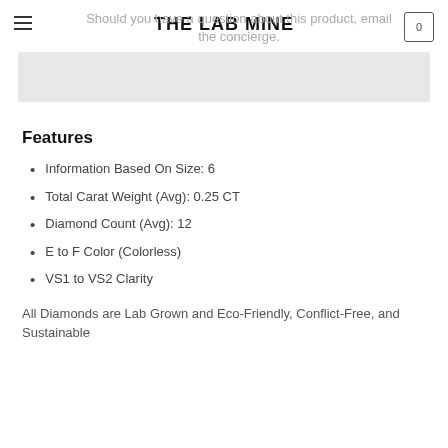THE LAB MINE
Should you have a question about this product, email the concierge.
Features
Information Based On Size: 6
Total Carat Weight (Avg): 0.25 CT
Diamond Count (Avg): 12
E to F Color (Colorless)
VS1 to VS2 Clarity
All Diamonds are Lab Grown and Eco-Friendly, Conflict-Free, and Sustainable